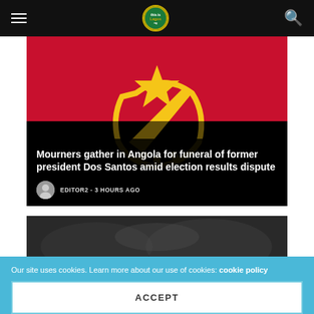This is Lagos - navigation header with hamburger menu, logo, and search icon
[Figure (photo): Angola flag (red and black horizontal stripes with yellow emblem - star, machete, and gear) blurred/out of focus, serving as background image for news article]
Mourners gather in Angola for funeral of former president Dos Santos amid election results dispute
EDITOR2 - 3 HOURS AGO
[Figure (photo): Dark blurred photo, second article thumbnail]
Our site uses cookies. Learn more about our use of cookies: cookie policy
ACCEPT